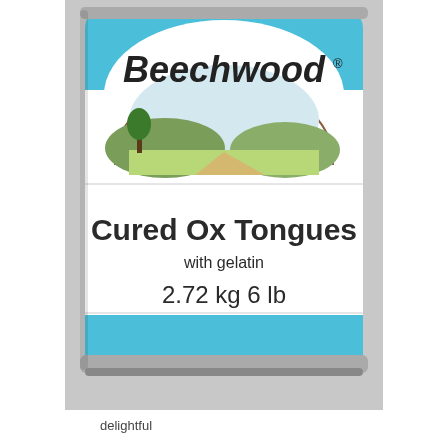[Figure (photo): A large tin can with a light blue label. The label shows the brand name 'Beechwood' in large dark italic lettering at the top inside a white arch shape with a scenic countryside illustration. Below reads 'Cured Ox Tongues' in large dark text, then 'with gelatin' in smaller text, then '2.72 kg 6 lb' in medium text. The can is photographed against a light grey/white background.]
delightful